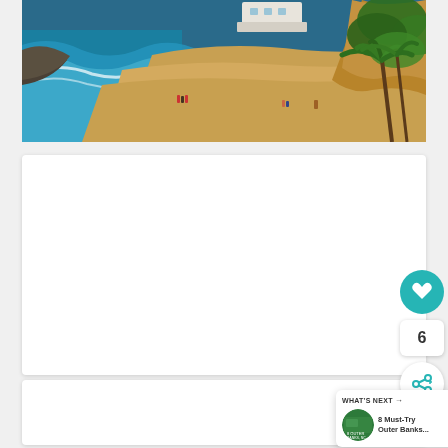[Figure (photo): Aerial view of a sandy cove beach with turquoise ocean waves on the left, palm trees and green cliffs on the right, people walking on the sand, and a white building visible on the clifftop in the background.]
6
WHAT'S NEXT → 8 Must-Try Outer Banks...